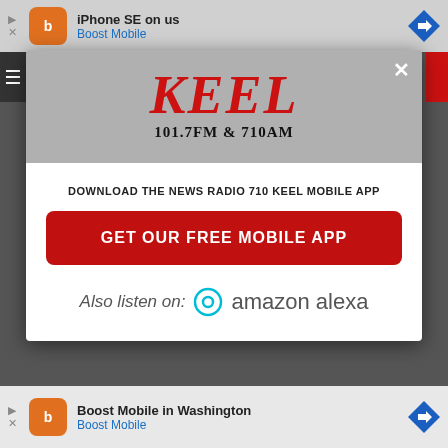[Figure (screenshot): Top advertisement banner for Boost Mobile - iPhone SE on us]
[Figure (logo): KEEL 101.7FM & 710AM radio station logo in red serif italic font]
DOWNLOAD THE NEWS RADIO 710 KEEL MOBILE APP
GET OUR FREE MOBILE APP
Also listen on:  amazon alexa
[Figure (screenshot): Bottom advertisement banner for Boost Mobile in Washington]